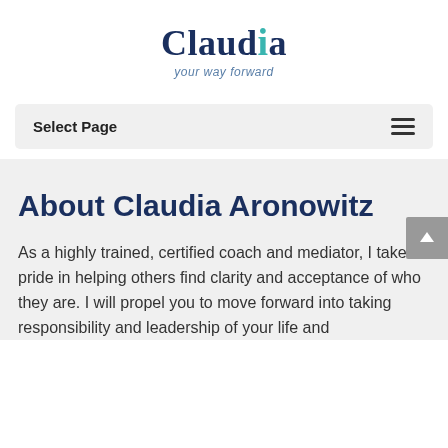[Figure (logo): Claudia your way forward logo — 'Claudia' in dark navy serif with teal dot over the 'i', tagline 'your way forward' in italic teal/blue below]
Select Page
About Claudia Aronowitz
As a highly trained, certified coach and mediator, I take pride in helping others find clarity and acceptance of who they are. I will propel you to move forward into taking responsibility and leadership of your life and